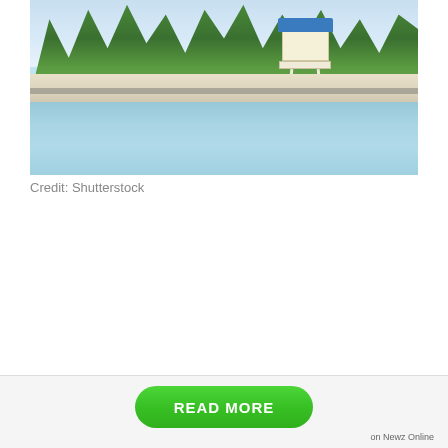[Figure (photo): Tropical beach scene with turquoise water, white sand beach, palm trees, and a white lifeguard tower with a blue roof. Birds visible on the sand, dock/pier visible in background.]
Credit: Shutterstock
READ MORE
on Newz Online